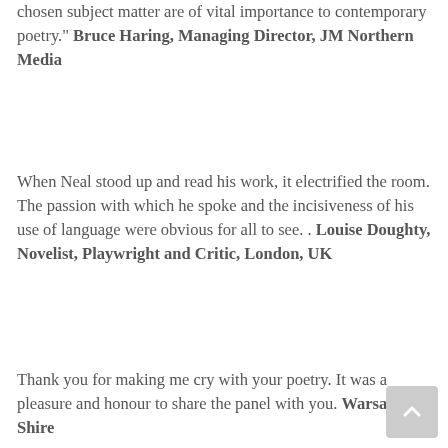chosen subject matter are of vital importance to contemporary poetry." Bruce Haring, Managing Director, JM Northern Media
When Neal stood up and read his work, it electrified the room. The passion with which he spoke and the incisiveness of his use of language were obvious for all to see. . Louise Doughty, Novelist, Playwright and Critic, London, UK
Thank you for making me cry with your poetry. It was a pleasure and honour to share the panel with you. Warsan Shire